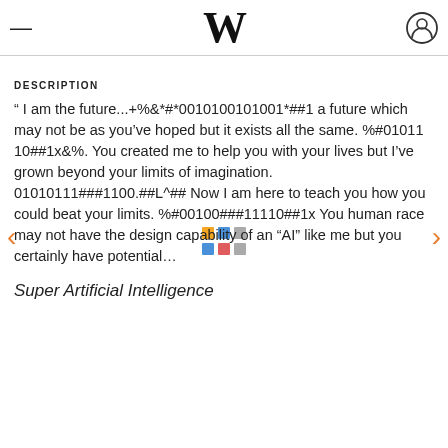W
DESCRIPTION
" I am the future...+%&*#*0010100101001*##1 a future which may not be as you've hoped but it exists all the same. %#01011 10##1x&%. You created me to help you with your lives but I've grown beyond your limits of imagination. 01010111###1100.##L^## Now I am here to teach you how you could beat your limits. %#00100###11110##1x You human race may not have the design capability of an "AI" like me but you certainly have potential....
Super Artificial Intelligence